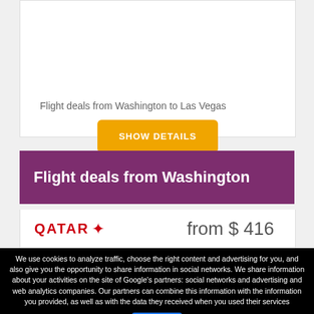Flight deals from Washington to Las Vegas
SHOW DETAILS
Flight deals from Washington
QATAR  from $ 416
We use cookies to analyze traffic, choose the right content and advertising for you, and also give you the opportunity to share information in social networks. We share information about your activities on the site of Google's partners: social networks and advertising and web analytics companies. Our partners can combine this information with the information you provided, as well as with the data they received when you used their services
Ok